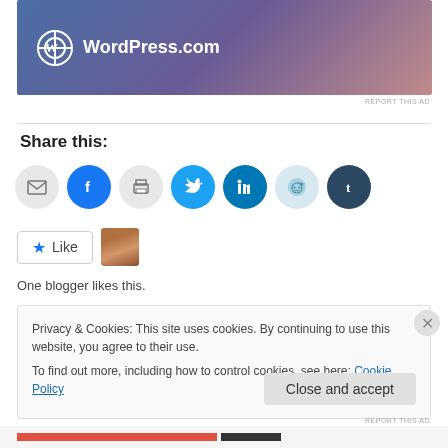[Figure (screenshot): WordPress.com advertisement banner with blue-purple-pink gradient background and white WordPress logo with text 'WordPress.com']
REPORT THIS AD
Share this:
[Figure (infographic): Row of social media sharing icons: email (grey), Facebook (blue), print (grey), Twitter (teal/blue), LinkedIn (dark teal), Reddit (light blue), Tumblr (dark navy)]
[Figure (other): Like button with blue star and 'Like' text, plus a small avatar thumbnail of a person]
One blogger likes this.
Privacy & Cookies: This site uses cookies. By continuing to use this website, you agree to their use.
To find out more, including how to control cookies, see here: Cookie Policy
Close and accept
REPORT THIS AD